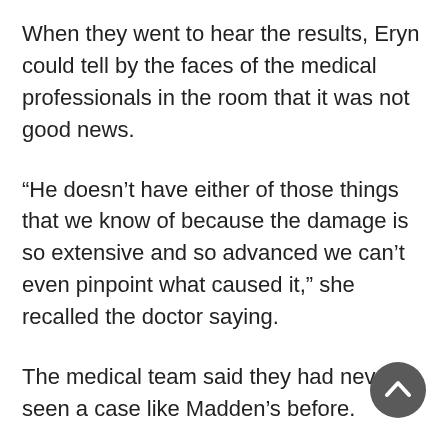When they went to hear the results, Eryn could tell by the faces of the medical professionals in the room that it was not good news.
“He doesn’t have either of those things that we know of because the damage is so extensive and so advanced we can’t even pinpoint what caused it,” she recalled the doctor saying.
The medical team said they had never seen a case like Madden’s before.
[Figure (other): Dark gray circular scroll-to-top button with an upward chevron arrow, positioned in the bottom right corner of the page.]